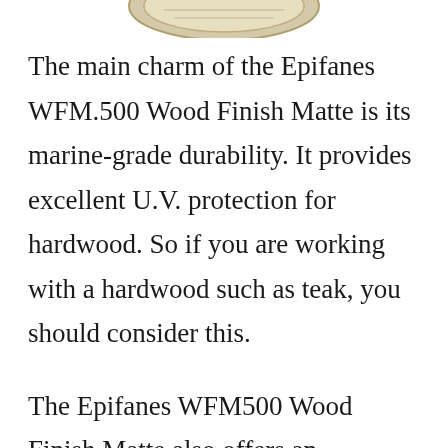[Figure (photo): Partial view of a product (Epifanes WFM.500 Wood Finish Matte can or lid), cropped at the top of the page]
The main charm of the Epifanes WFM.500 Wood Finish Matte is its marine-grade durability. It provides excellent U.V. protection for hardwood. So if you are working with a hardwood such as teak, you should consider this.
The Epifanes WFM500 Wood Finish Matte also offers an excellent finish. It enhances the attractiveness of the boat by giving it